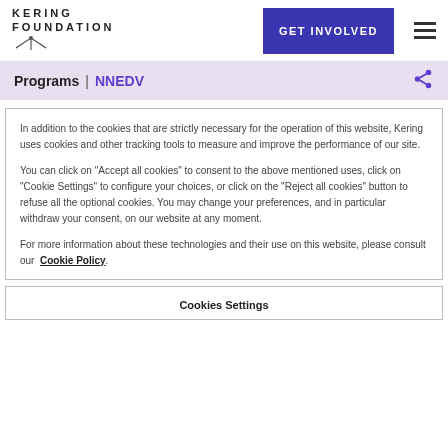KERING FOUNDATION | GET INVOLVED
Programs | NNEDV
In addition to the cookies that are strictly necessary for the operation of this website, Kering uses cookies and other tracking tools to measure and improve the performance of our site.

You can click on "Accept all cookies" to consent to the above mentioned uses, click on "Cookie Settings" to configure your choices, or click on the "Reject all cookies" button to refuse all the optional cookies. You may change your preferences, and in particular withdraw your consent, on our website at any moment.

For more information about these technologies and their use on this website, please consult our Cookie Policy.
Cookies Settings